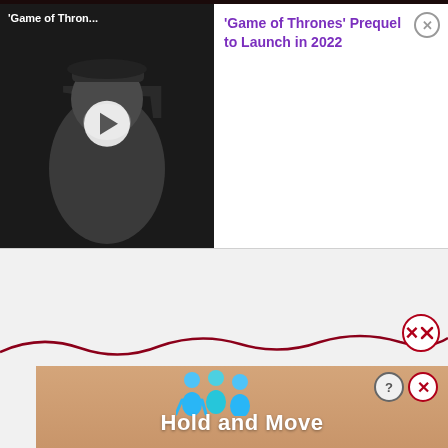[Figure (screenshot): Video thumbnail showing a man in a gray cap and coat in front of dark background with large letter F. White play button circle overlay. Title text: 'Game of Thron...']
'Game of Thrones' Prequel to Launch in 2022
[Figure (screenshot): Ad placeholder area with 'Ad' label in a rounded rectangle, on light gray background]
[Figure (screenshot): Bottom advertisement banner showing blue cartoon figures and text 'Hold and Move' on a peach/sand-colored background with close (X) and help (?) buttons]